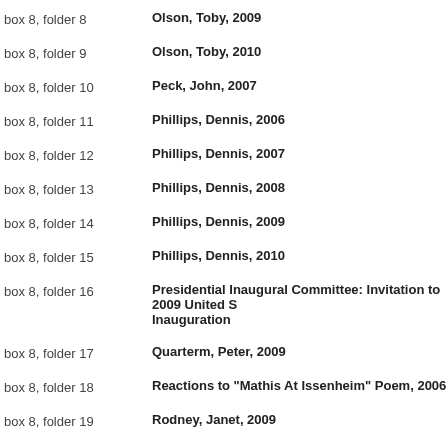box 8, folder 8 — Olson, Toby, 2009
box 8, folder 9 — Olson, Toby, 2010
box 8, folder 10 — Peck, John, 2007
box 8, folder 11 — Phillips, Dennis, 2006
box 8, folder 12 — Phillips, Dennis, 2007
box 8, folder 13 — Phillips, Dennis, 2008
box 8, folder 14 — Phillips, Dennis, 2009
box 8, folder 15 — Phillips, Dennis, 2010
box 8, folder 16 — Presidential Inaugural Committee: Invitation to 2009 United States Inauguration
box 8, folder 17 — Quarterm, Peter, 2009
box 8, folder 18 — Reactions to "Mathis At Issenheim" Poem, 2006
box 8, folder 19 — Rodney, Janet, 2009